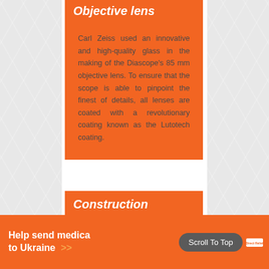Objective lens
Carl Zeiss used an innovative and high-quality glass in the making of the Diascope's 85 mm objective lens. To ensure that the scope is able to pinpoint the finest of details, all lenses are coated with a revolutionary coating known as the Lutotech coating.
Construction
One of the scope's thrilling
Help send medical supplies to Ukraine >>